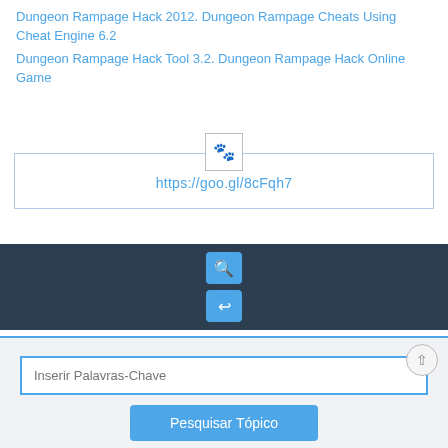Dungeon Rampage Hack 2012. Dungeon Rampage Cheats Using Cheat Engine 6.2
Dungeon Rampage Hack Tool 3.2. Dungeon Rampage Hack Online Game
[Figure (screenshot): A paw print icon in a box centered above a URL display box containing https://goo.gl/8cFqh7]
[Figure (screenshot): Dark navy toolbar with two blue icon buttons: a magnifier with plus and a reply/undo arrow]
Inserir Palavras-Chave
Pesquisar Tópico